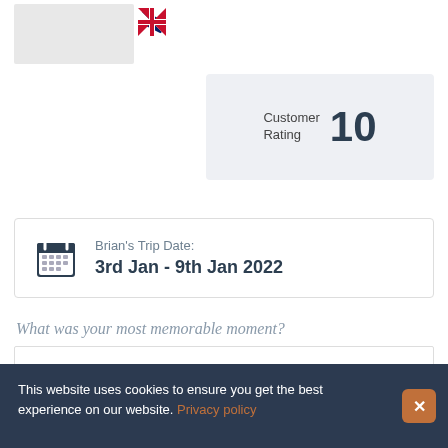[Figure (other): Grey placeholder box with UK flag icon]
Customer Rating 10
Brian's Trip Date: 3rd Jan - 9th Jan 2022
What was your most memorable moment?
…seeing a glacier for the first time
Which of the following best describes your adventure?
This website uses cookies to ensure you get the best experience on our website. Privacy policy